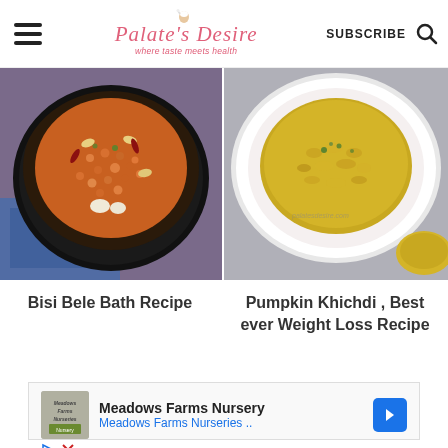Palate's Desire — where taste meets health | SUBSCRIBE
[Figure (photo): Top-down view of Bisi Bele Bath in a dark bowl with lentils, cashews, dried chilies, carrots on a blue cloth background]
[Figure (photo): Top-down view of Pumpkin Khichdi in a white bowl with yellow/golden coloring and green herb garnish on a gray surface]
Bisi Bele Bath Recipe
Pumpkin Khichdi , Best ever Weight Loss Recipe
[Figure (infographic): Advertisement for Meadows Farms Nursery with logo, text 'Meadows Farms Nursery' and 'Meadows Farms Nurseries ..' with a blue arrow icon, play and close controls]